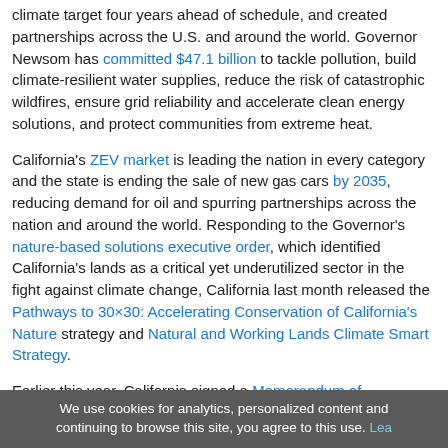climate target four years ahead of schedule, and created partnerships across the U.S. and around the world. Governor Newsom has committed $47.1 billion to tackle pollution, build climate-resilient water supplies, reduce the risk of catastrophic wildfires, ensure grid reliability and accelerate clean energy solutions, and protect communities from extreme heat.
California's ZEV market is leading the nation in every category and the state is ending the sale of new gas cars by 2035, reducing demand for oil and spurring partnerships across the nation and around the world. Responding to the Governor's nature-based solutions executive order, which identified California's lands as a critical yet underutilized sector in the fight against climate change, California last month released the Pathways to 30×30: Accelerating Conservation of California's Nature strategy and Natural and Working Lands Climate Smart Strategy.
Earlier this year, California signed a Memorandum of Cooperation with Japan to advance cooperation on climate and clean energy priorities, and strengthen trade relations. Governor Newsom also signed a Memorandum of Understanding with China to accelerate ongoing initiatives to protect the environment, reduce carbon and air pollution, and promote clean technology
We use cookies for analytics, personalized content and continuing to browse this site, you agree to this use. Lea